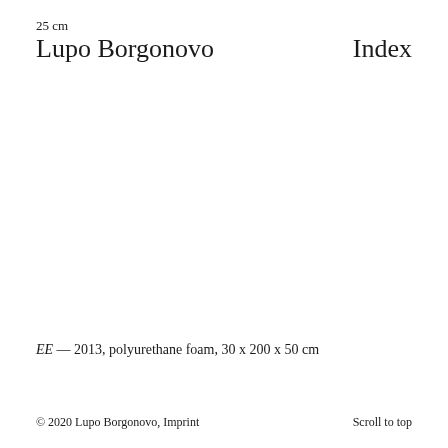25 cm
Lupo Borgonovo   Index
EE — 2013, polyurethane foam, 30 x 200 x 50 cm
© 2020 Lupo Borgonovo, Imprint   Scroll to top